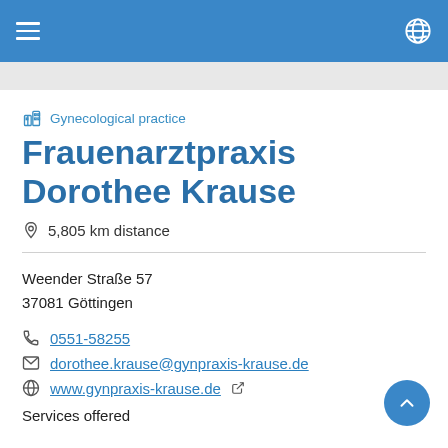Gynecological practice — Frauenarztpraxis Dorothee Krause
Gynecological practice
Frauenarztpraxis Dorothee Krause
5,805 km distance
Weender Straße 57
37081 Göttingen
0551-58255
dorothee.krause@gynpraxis-krause.de
www.gynpraxis-krause.de
Services offered